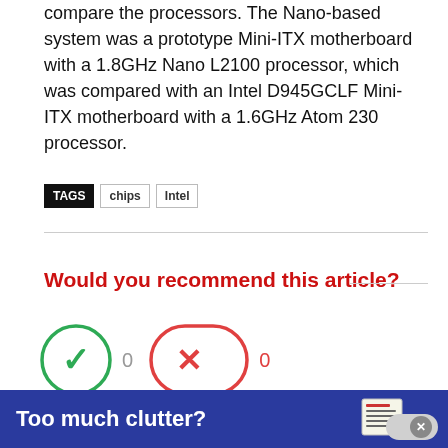compare the processors. The Nano-based system was a prototype Mini-ITX motherboard with a 1.8GHz Nano L2100 processor, which was compared with an Intel D945GCLF Mini-ITX motherboard with a 1.6GHz Atom 230 processor.
TAGS  chips  Intel
Would you recommend this article?
[Figure (other): Two voting buttons: a green checkmark button with count 0 and a red X button with count 0]
Too much clutter?